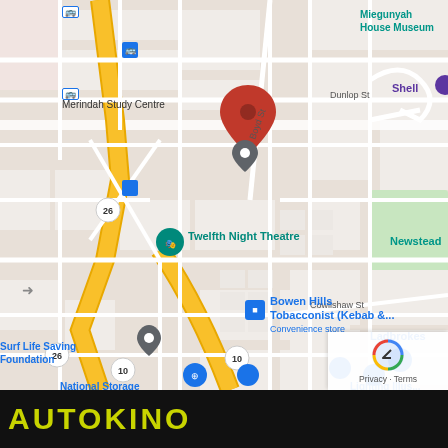[Figure (map): Google Maps screenshot showing Bowen Hills / Fortitude Valley area in Brisbane, Australia. Key landmarks visible: Miegunyah House Museum (top right), Merindah Study Centre (top left), Boyd St label, Dunlop St, Twelfth Night Theatre, Newstead, Bowen Hills Tobacconist (Kebab & ... Convenience store), Surf Life Saving Foundation, National Storage Fortitude Valley..., Ladbrokes, Lighting Illus... Fortitude Va..., Cowlishaw St. A red map pin is placed on Boyd St. Route 26 and Route 10 markers visible. Yellow highway curves through center-left.]
AUTOKINO